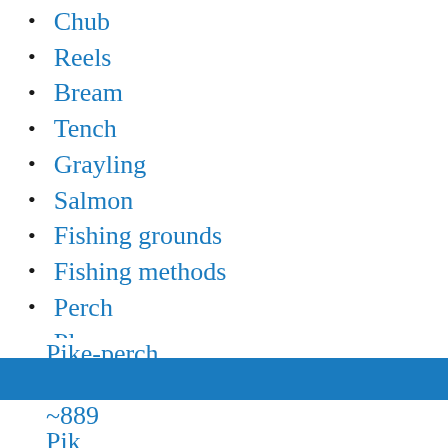Chub
Reels
Bream
Tench
Grayling
Salmon
Fishing grounds
Fishing methods
Perch
Plow
Lures
Trout
Pike-perch
~889
Pik…